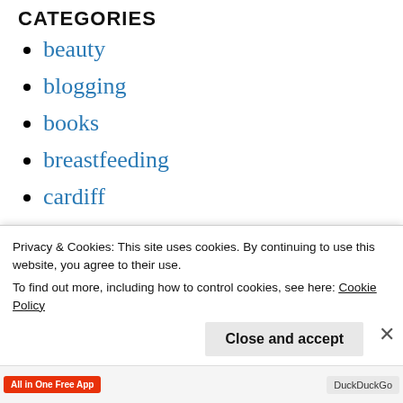CATEGORIES
beauty
blogging
books
breastfeeding
cardiff
competition
fashion
food
get to know me better
Privacy & Cookies: This site uses cookies. By continuing to use this website, you agree to their use.
To find out more, including how to control cookies, see here: Cookie Policy
Close and accept